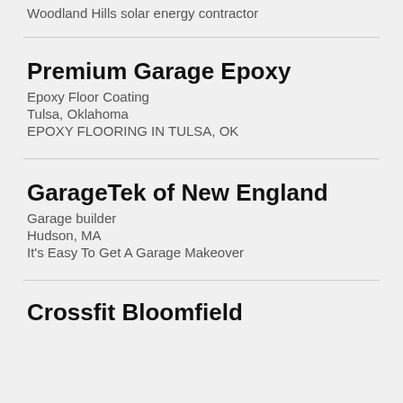Woodland Hills solar energy contractor
Premium Garage Epoxy
Epoxy Floor Coating
Tulsa, Oklahoma
EPOXY FLOORING IN TULSA, OK
GarageTek of New England
Garage builder
Hudson, MA
It's Easy To Get A Garage Makeover
Crossfit Bloomfield